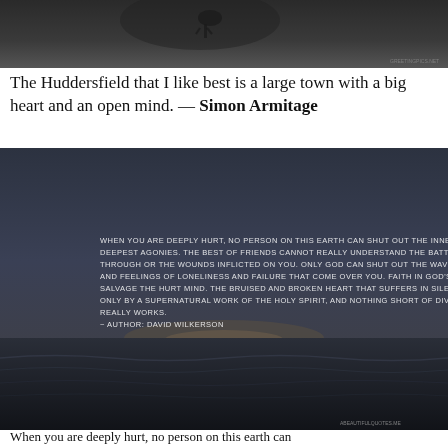[Figure (photo): Dark moody image, dark background with a faint figure silhouette, small watermark text 'GREETINGPICS.NET' at bottom right]
The Huddersfield that I like best is a large town with a big heart and an open mind. — Simon Armitage
[Figure (photo): Dark ocean/seascape photo at dusk/night with white text overlay reading: WHEN YOU ARE DEEPLY HURT, NO PERSON ON THIS EARTH CAN SHUT OUT THE INNERMOST FEARS AND DEEPEST AGONIES. THE BEST OF FRIENDS CANNOT REALLY UNDERSTAND THE BATTLE YOU ARE GOING THROUGH OR THE WOUNDS INFLICTED ON YOU. ONLY GOD CAN SHUT OUT THE WAVES OF DEPRESSION AND FEELINGS OF LONELINESS AND FAILURE THAT COME OVER YOU. FAITH IN GOD'S LOVE ALONE CAN SALVAGE THE HURT MIND. THE BRUISED AND BROKEN HEART THAT SUFFERS IN SILENCE CAN BE HEALED ONLY BY A SUPERNATURAL WORK OF THE HOLY SPIRIT, AND NOTHING SHORT OF DIVINE INTERVENTION REALLY WORKS. ~ AUTHOR: DAVID WILKERSON. Small watermark 'ABEAUTIFULQUOTES.ME' at bottom right.]
When you are deeply hurt, no person on this earth can